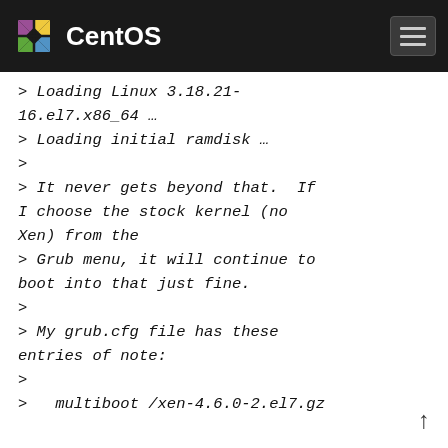CentOS
> Loading Linux 3.18.21-16.el7.x86_64 …
> Loading initial ramdisk …
>
> It never gets beyond that.  If I choose the stock kernel (no Xen) from the
> Grub menu, it will continue to boot into that just fine.
>
> My grub.cfg file has these entries of note:
>
>   multiboot /xen-4.6.0-2.el7.gz